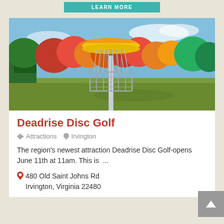[Figure (screenshot): Teal LEARN MORE button at top of page]
[Figure (photo): A disc golf basket/chain target in a grassy field with colorful autumn foliage trees in the background and blue sky]
Deadrise Disc Golf
Attractions   Irvington
The region's newest attraction Deadrise Disc Golf-opens June 11th at 11am. This is  ...
480 Old Saint Johns Rd Irvington, Virginia 22480